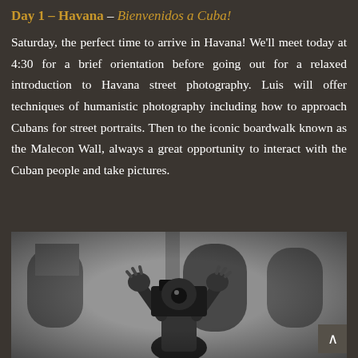Day 1 – Havana – Bienvenidos a Cuba!
Saturday, the perfect time to arrive in Havana! We'll meet today at 4:30 for a brief orientation before going out for a relaxed introduction to Havana street photography. Luis will offer techniques of humanistic photography including how to approach Cubans for street portraits. Then to the iconic boardwalk known as the Malecon Wall, always a great opportunity to interact with the Cuban people and take pictures.
[Figure (photo): Black and white photograph of a person holding a camera up to their face with both hands raised, standing in front of a building with arched windows and doorways in Havana, Cuba.]